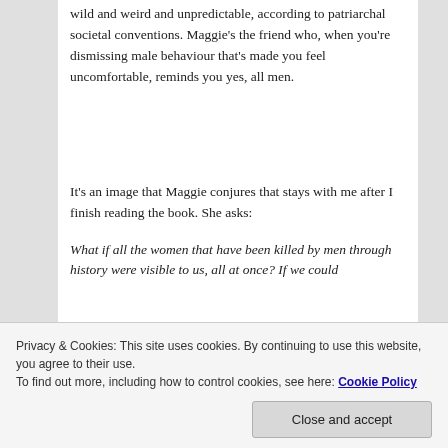wild and weird and unpredictable, according to patriarchal societal conventions. Maggie's the friend who, when you're dismissing male behaviour that's made you feel uncomfortable, reminds you yes, all men.
It's an image that Maggie conjures that stays with me after I finish reading the book. She asks:
What if all the women that have been killed by men through history were visible to us, all at once? If we could...
Privacy & Cookies: This site uses cookies. By continuing to use this website, you agree to their use.
To find out more, including how to control cookies, see here: Cookie Policy